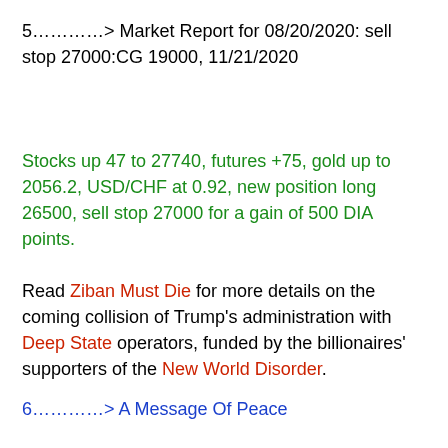5………….> Market Report for 08/20/2020: sell stop 27000:CG 19000, 11/21/2020
Stocks up 47 to 27740, futures +75, gold up to 2056.2, USD/CHF at 0.92, new position long 26500, sell stop 27000 for a gain of 500 DIA points.
Read Ziban Must Die for more details on the coming collision of Trump's administration with Deep State operators, funded by the billionaires' supporters of the New World Disorder.
6………….> A Message Of Peace